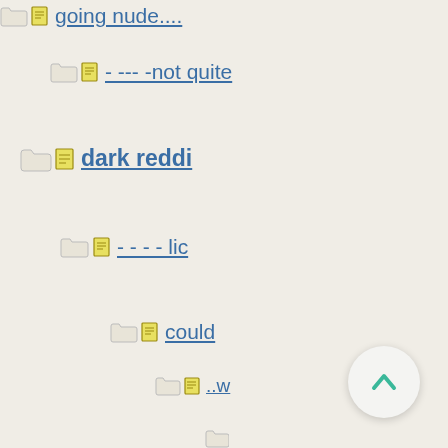going nude....
- --- -not quite
dark reddi
- - - - lic
could
..w
-
[Figure (other): Scroll to top button with upward chevron arrow]